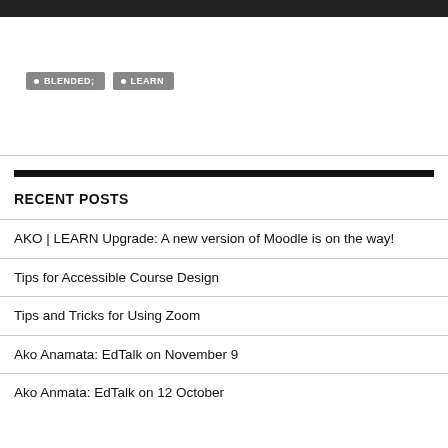[Figure (screenshot): Dark top bar / video thumbnail strip at the top of the page]
BLENDED;
LEARN
RECENT POSTS
AKO | LEARN Upgrade: A new version of Moodle is on the way!
Tips for Accessible Course Design
Tips and Tricks for Using Zoom
Ako Anamata: EdTalk on November 9
Ako Anmata: EdTalk on 12 October